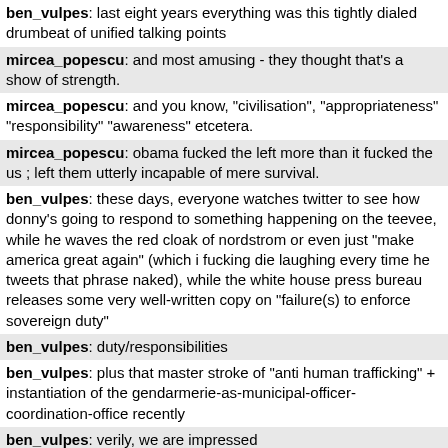ben_vulpes: last eight years everything was this tightly dialed drumbeat of unified talking points
mircea_popescu: and most amusing - they thought that's a show of strength.
mircea_popescu: and you know, "civilisation", "appropriateness" "responsibility" "awareness" etcetera.
mircea_popescu: obama fucked the left more than it fucked the us ; left them utterly incapable of mere survival.
ben_vulpes: these days, everyone watches twitter to see how donny's going to respond to something happening on the teevee, while he waves the red cloak of nordstrom or even just "make america great again" (which i fucking die laughing every time he tweets that phrase naked), while the white house press bureau releases some very well-written copy on "failure(s) to enforce sovereign duty"
ben_vulpes: duty/responsibilities
ben_vulpes: plus that master stroke of "anti human trafficking" + instantiation of the gendarmerie-as-municipal-officer-coordination-office recently
ben_vulpes: verily, we are impressed
mircea_popescu: and consider -- he's selling the supreme strength of NOT having a bunch of these useless dorks employed as... a weakness.
ben_vulpes: "useless dorks" aka social media mgrs?
mircea_popescu: no, white house experts / aides / wash dc